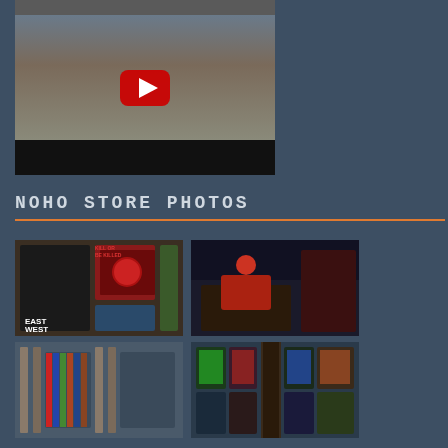[Figure (photo): YouTube video thumbnail showing two people (man in Captain America t-shirt and woman) standing in what appears to be a comic book store, with a YouTube play button overlay and a black control bar at bottom]
NOHO STORE PHOTOS
[Figure (photo): Comic book store display showing comic books and graphic novels including 'East West' on shelves]
[Figure (photo): Author or creator signing event at the NoHo comic book store, person in red shirt seated at table with books/comics]
[Figure (photo): Comic book racks and shelves inside the NoHo store]
[Figure (photo): Wall display of comic books and graphic novels at the NoHo store]